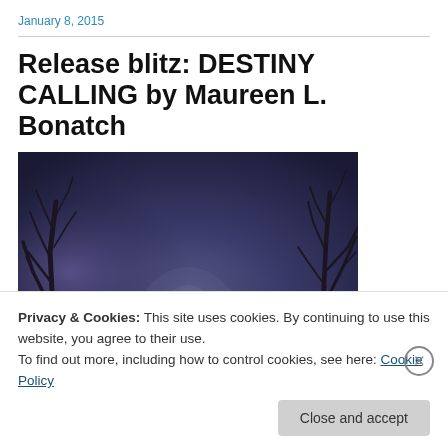January 8, 2015
Release blitz: DESTINY CALLING by Maureen L. Bonatch
[Figure (illustration): Dark moody book cover image with bare tree branches against a purple-blue night sky, with a subtle face or figure visible in the background]
Privacy & Cookies: This site uses cookies. By continuing to use this website, you agree to their use.
To find out more, including how to control cookies, see here: Cookie Policy
Close and accept